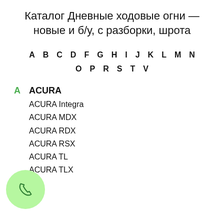Каталог Дневные ходовые огни — новые и б/у, с разборки, шрота
A B C D F G H I J K L M N O P R S T V
A ACURA
ACURA Integra
ACURA MDX
ACURA RDX
ACURA RSX
ACURA TL
ACURA TLX